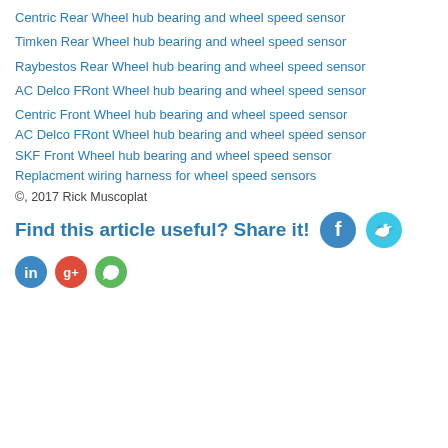Centric Rear Wheel hub bearing and wheel speed sensor
Timken Rear Wheel hub bearing and wheel speed sensor
Raybestos Rear Wheel hub bearing and wheel speed sensor
AC Delco FRont Wheel hub bearing and wheel speed sensor
Centric Front Wheel hub bearing and wheel speed sensor
AC Delco FRont Wheel hub bearing and wheel speed sensor
SKF Front Wheel hub bearing and wheel speed sensor
Replacment wiring harness for wheel speed sensors
©, 2017 Rick Muscoplat
Find this article useful? Share it!